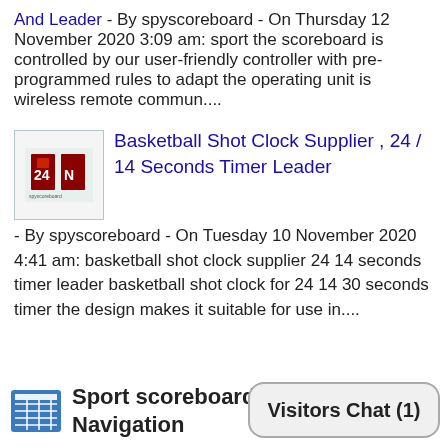And Leader - By spyscoreboard - On Thursday 12 November 2020 3:09 am: sport the scoreboard is controlled by our user-friendly controller with pre-programmed rules to adapt the operating unit is wireless remote commun....
[Figure (logo): Small thumbnail image with red scoreboard logo on light background with border]
Basketball Shot Clock Supplier , 24 / 14 Seconds Timer Leader - By spyscoreboard - On Tuesday 10 November 2020 4:41 am: basketball shot clock supplier 24 14 seconds timer leader basketball shot clock for 24 14 30 seconds timer the design makes it suitable for use in....
[Figure (logo): Calendar/grid icon in blue for Sport scoreboards Navigation section]
Sport scoreboards Navigation
Visitors Chat (1)